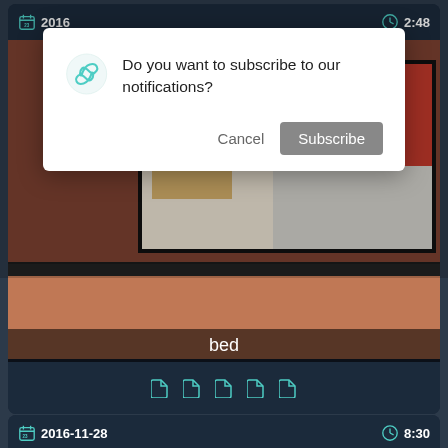[Figure (screenshot): Mobile app screenshot showing a video thumbnail of a bedroom scene with a wall-mounted TV/artwork. The card shows date '2016' and duration '2:48' in the top bar, with a label 'bed' and tag icons at the bottom.]
[Figure (screenshot): Browser/app notification dialog overlay asking 'Do you want to subscribe to our notifications?' with Cancel and Subscribe buttons, and a teal infinity/loop icon.]
[Figure (screenshot): Partial bottom video card showing date '2016-11-28' and duration '8:30', with a thumbnail of a person lying down.]